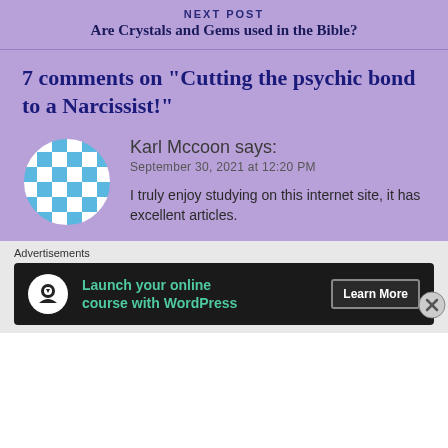NEXT POST
Are Crystals and Gems used in the Bible?
7 comments on “Cutting the psychic bond to a Narcissist!”
[Figure (illustration): Blue and white checkered pattern avatar in a circle]
Karl Mccoon says:
September 30, 2021 at 12:20 PM
I truly enjoy studying on this internet site, it has excellent articles.
Advertisements
[Figure (screenshot): Advertisement banner: Launch your online course with WordPress. Learn More button. Dark background with teal text.]